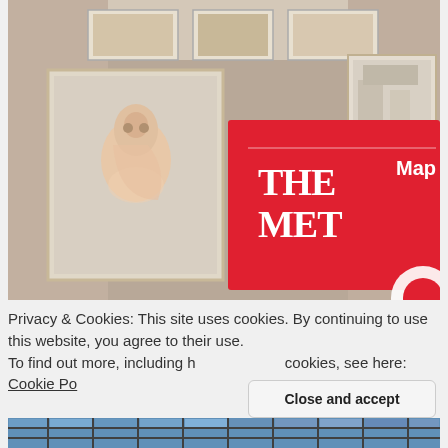[Figure (photo): Interior of The Met museum gallery with framed paintings on walls. A bright red Met museum map pamphlet is held up in front, showing 'THE MET' logo on the left and 'Map' label on the upper right. The map has a partial white circular logo at the bottom right.]
Privacy & Cookies: This site uses cookies. By continuing to use this website, you agree to their use.
To find out more, including h cookies, see here: Cookie Po
Close and accept
[Figure (photo): Bottom strip showing a skylight ceiling with grid of glass panes, blue sky visible through them.]